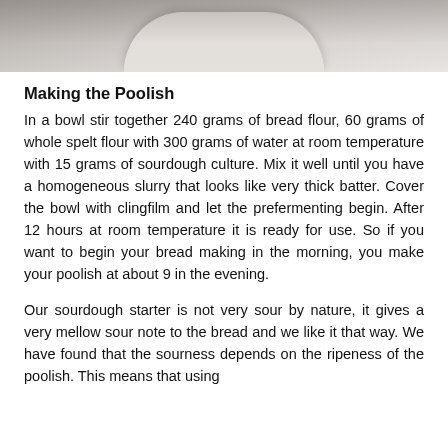[Figure (photo): Close-up photo of bread dough being handled, showing a pale dough ball in a bowl, partially cropped at top of page.]
Making the Poolish
In a bowl stir together 240 grams of bread flour, 60 grams of whole spelt flour with 300 grams of water at room temperature with 15 grams of sourdough culture. Mix it well until you have a homogeneous slurry that looks like very thick batter. Cover the bowl with clingfilm and let the prefermenting begin. After 12 hours at room temperature it is ready for use. So if you want to begin your bread making in the morning, you make your poolish at about 9 in the evening.
Our sourdough starter is not very sour by nature, it gives a very mellow sour note to the bread and we like it that way. We have found that the sourness depends on the ripeness of the poolish. This means that using